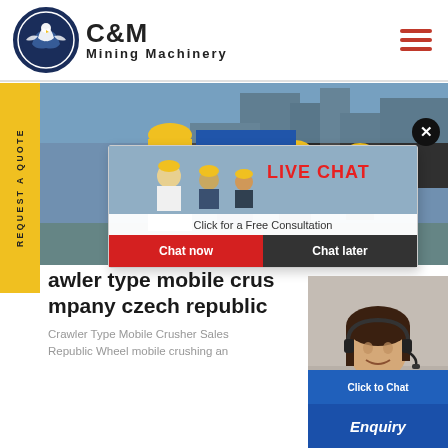[Figure (logo): C&M Mining Machinery logo with eagle/gear emblem in dark blue circle]
[Figure (screenshot): Website screenshot showing C&M Mining Machinery page with live chat popup overlay, hero image of workers in hard hats at industrial site, sidebar 'Request a Quote' tab, live chat dialog with 'LIVE CHAT / Click for a Free Consultation / Chat now / Chat later', agent photo bottom right, 'Click to Chat' blue button]
awler type mobile crus
mpany czech republic
Crawler Type Mobile Crusher Sales Republic Wheel mobile crushing an